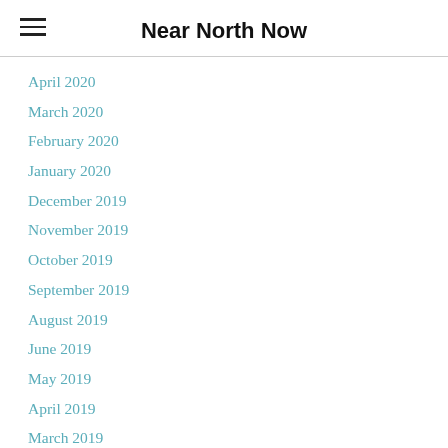Near North Now
April 2020
March 2020
February 2020
January 2020
December 2019
November 2019
October 2019
September 2019
August 2019
June 2019
May 2019
April 2019
March 2019
February 2019
January 2019
December 2018
November 2018